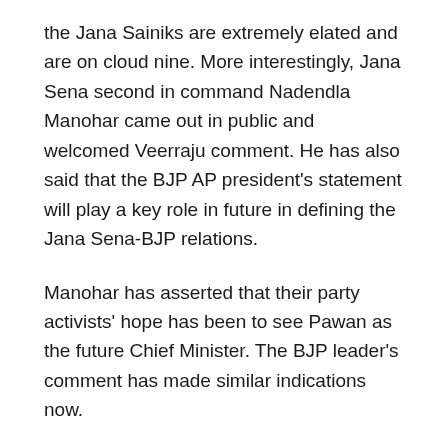the Jana Sainiks are extremely elated and are on cloud nine. More interestingly, Jana Sena second in command Nadendla Manohar came out in public and welcomed Veerraju comment. He has also said that the BJP AP president's statement will play a key role in future in defining the Jana Sena-BJP relations.
Manohar has asserted that their party activists' hope has been to see Pawan as the future Chief Minister. The BJP leader's comment has made similar indications now.
After welcoming Veerraju comment, Manohar has clarified that Pawan will tour and campaign in the Nellore and Chittoor districts next week. Analysts say that the Veerraju comment might be a premeditated one only intended to satisfy the rising concerns in the JSP leaders. Jana Sainiks have long been unhappy that the BJP has only been using